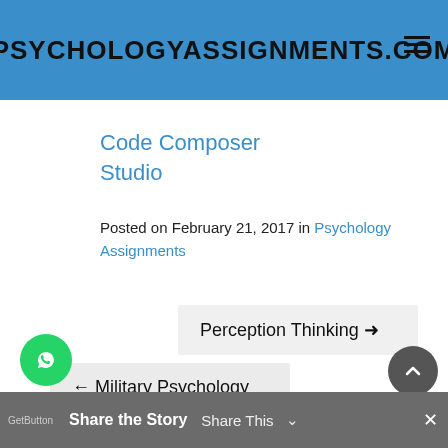PSYCHOLOGYASSIGNMENTS.COM
Code Composer Studio
Posted on February 21, 2017 in Psychology Assignments
Perception Thinking →
← Military Psychology
Share the Story  Share This  ×